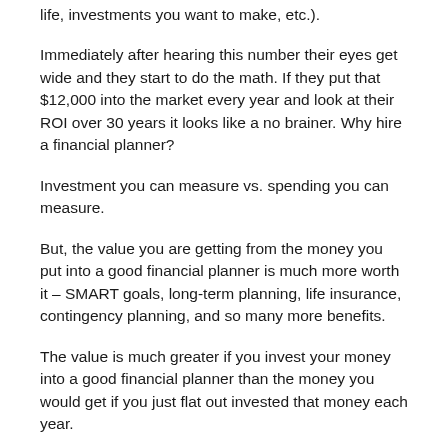life, investments you want to make, etc.).
Immediately after hearing this number their eyes get wide and they start to do the math. If they put that $12,000 into the market every year and look at their ROI over 30 years it looks like a no brainer. Why hire a financial planner?
Investment you can measure vs. spending you can measure.
But, the value you are getting from the money you put into a good financial planner is much more worth it – SMART goals, long-term planning, life insurance, contingency planning, and so many more benefits.
The value is much greater if you invest your money into a good financial planner than the money you would get if you just flat out invested that money each year.